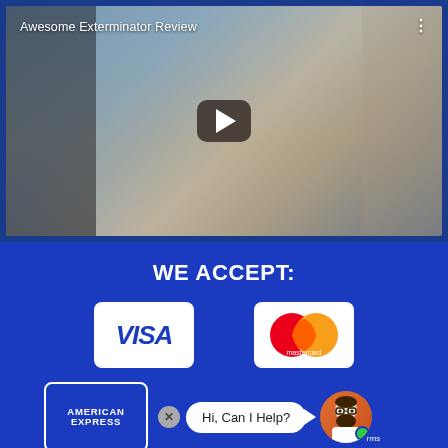[Figure (screenshot): Video thumbnail showing a man in a blue shirt sitting in a room with bookshelves and musical instruments. Title reads 'Awesome Exterminator Review' with a play button overlay.]
Awesome Exterminator Review
WE ACCEPT:
[Figure (logo): VISA payment logo (white box, blue italic text)]
[Figure (logo): Mastercard payment logo (two overlapping circles, red and orange, with 'mastercard' text)]
[Figure (logo): American Express payment logo (blue box with white text 'AMERICAN EXPRESS')]
[Figure (screenshot): Chat widget showing close button (X), speech bubble saying 'Hi, Can I Help?', arrow, and avatar of a man with glasses and beard on orange background with green online dot. 'rms' text visible at bottom right.]